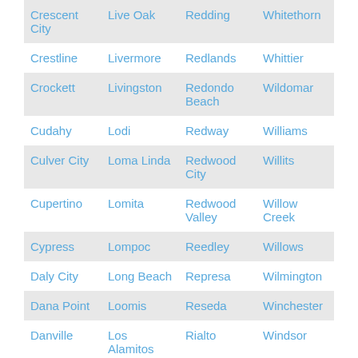| Crescent City | Live Oak | Redding | Whitethorn |
| Crestline | Livermore | Redlands | Whittier |
| Crockett | Livingston | Redondo Beach | Wildomar |
| Cudahy | Lodi | Redway | Williams |
| Culver City | Loma Linda | Redwood City | Willits |
| Cupertino | Lomita | Redwood Valley | Willow Creek |
| Cypress | Lompoc | Reedley | Willows |
| Daly City | Long Beach | Represa | Wilmington |
| Dana Point | Loomis | Reseda | Winchester |
| Danville | Los Alamitos | Rialto | Windsor |
| Davis | Los Altos | Richmond | Winterl... |